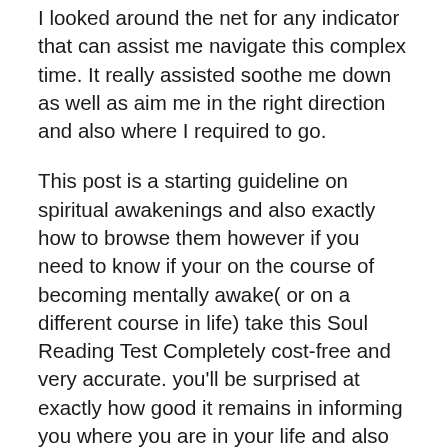I looked around the net for any indicator that can assist me navigate this complex time. It really assisted soothe me down as well as aim me in the right direction and also where I required to go.
This post is a starting guideline on spiritual awakenings and also exactly how to browse them however if you need to know if your on the course of becoming mentally awake( or on a different course in life) take this Soul Reading Test Completely cost-free and very accurate. you'll be surprised at exactly how good it remains in informing you where you are in your life and also where your headed.